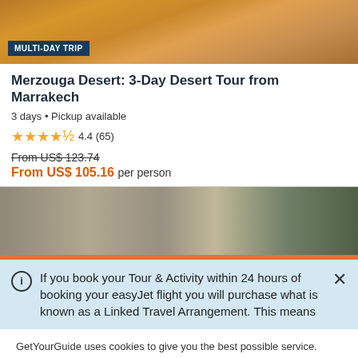[Figure (photo): Desert landscape with sandy dunes and warm orange tones, person partially visible at top]
MULTI-DAY TRIP
Merzouga Desert: 3-Day Desert Tour from Marrakech
3 days • Pickup available
★★★★½ 4.4 (65)
From US$ 123.74
From US$ 105.16 per person
[Figure (photo): Stone lion sculpture in a park setting with green trees and bushes]
If you book your Tour & Activity within 24 hours of booking your easyJet flight you will purchase what is known as a Linked Travel Arrangement. This means
GetYourGuide uses cookies to give you the best possible service. If you continue browsing, you agree to the use of cookies. More details can be found in our privacy policy.